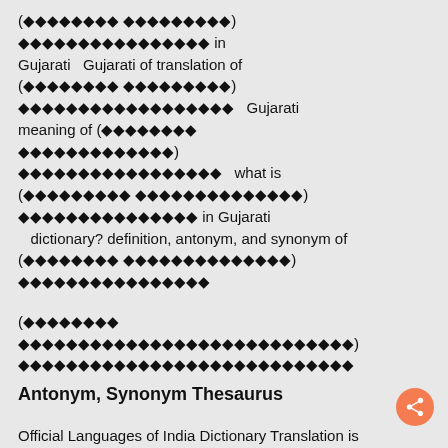(◆◆◆◆◆◆◆◆ ◆◆◆◆◆◆◆◆◆) ◆◆◆◆◆◆◆◆◆◆◆◆◆◆◆◆ in Gujarati  Gujarati of translation of (◆◆◆◆◆◆◆◆ ◆◆◆◆◆◆◆◆◆) ◆◆◆◆◆◆◆◆◆◆◆◆◆◆◆◆◆◆  Gujarati meaning of (◆◆◆◆◆◆◆◆ ◆◆◆◆◆◆◆◆◆◆◆) ◆◆◆◆◆◆◆◆◆◆◆◆◆◆◆◆◆  what is (◆◆◆◆◆◆◆◆◆ ◆◆◆◆◆◆◆◆◆◆◆◆◆◆) ◆◆◆◆◆◆◆◆◆◆◆◆◆◆◆ in Gujarati dictionary? definition, antonym, and synonym of (◆◆◆◆◆◆◆◆ ◆◆◆◆◆◆◆◆◆◆◆) ◆◆◆◆◆◆◆◆◆◆◆◆◆◆◆◆
(◆◆◆◆◆◆◆◆ ◆◆◆◆◆◆◆◆◆◆◆◆◆◆◆) ◆◆◆◆◆◆◆◆◆◆◆◆◆◆
Antonym, Synonym Thesaurus
Official Languages of India Dictionary Translation is significantly better than Google translation offers multiple meanings, alternate words list of